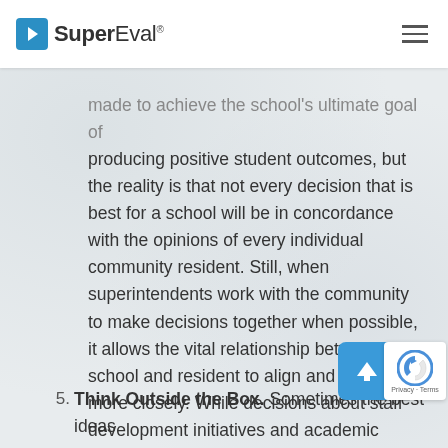SuperEval
made to achieve the school's ultimate goal of producing positive student outcomes, but the reality is that not every decision that is best for a school will be in concordance with the opinions of every individual community resident. Still, when superintendents work with the community to make decisions together when possible, it allows the vital relationship between school and resident to align and solidify more closely. While decisions about staff development initiatives and academic programming may are less well-suited for open community dialogue, deciding where to build your middle school's new junior varsity football field could undoubtedly be made with input from surrounding homeowners.
5. Think Outside the Box. Sometimes the best ideas